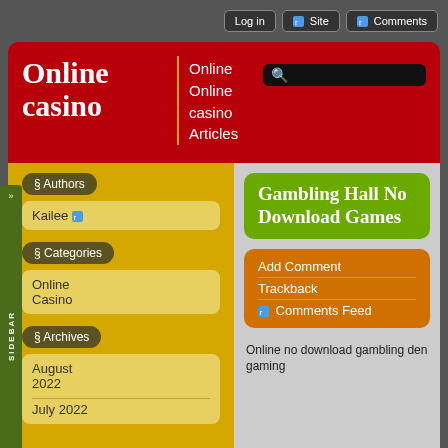Log in | Site | Comments
Online casino
Online
Online casino
Articles
§ Authors
Kailee
§ Categories
Online Casino
§ Archives
August 2022
July 2022
Gambling Hall No Download Games
Add Comment
Trackback
Comments Feed
Online no download gambling den gaming